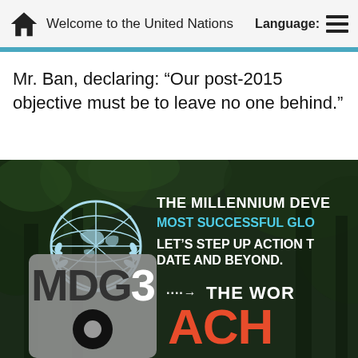Welcome to the United Nations
Mr. Ban, declaring: “Our post-2015 objective must be to leave no one behind.”
[Figure (photo): UN promotional image with dark forest background, UN emblem logo, text overlay reading 'THE MILLENNIUM DEVE... MOST SUCCESSFUL GLO... LET'S STEP UP ACTION T... DATE AND BEYOND.' Bottom portion shows MDG3 logo on grey rounded rectangle, with 'THE WOR...' and 'ACH...' text in orange/white.]